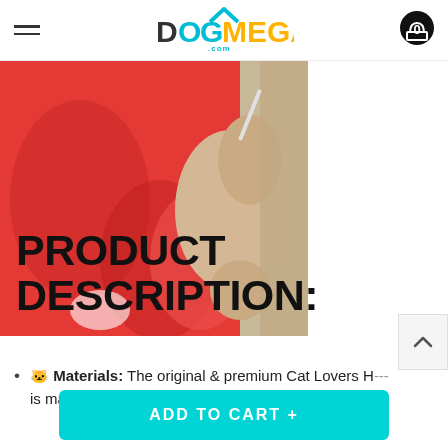DOGMEGA.COM
[Figure (photo): Person wearing a red hoodie/sweater, holding a beige/tan cat, close-up of torso and hands]
PRODUCT DESCRIPTION:
🐱 Materials: The original & premium Cat Lovers Hoodie is made of the highest quality 100% Cotton.